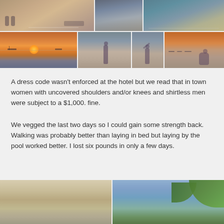[Figure (photo): Top row of beach/coastal photos showing people, boats, and shoreline scenes]
[Figure (photo): Second row of four photos: sunset over beach with boats, three photos of a person posing on beach at dusk]
A dress code wasn't enforced at the hotel but we read that in town women with uncovered shoulders and/or knees and shirtless men were subject to a $1,000. fine.
We vegged the last two days so I could gain some strength back. Walking was probably better than laying in bed but laying by the pool worked better. I lost six pounds in only a few days.
[Figure (photo): Bottom row of two photos: beach/sky scene and palm tree against blue sky]